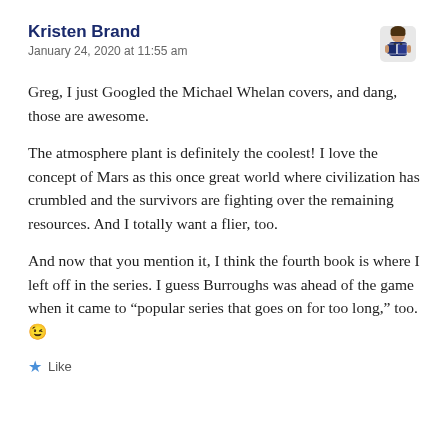Kristen Brand
January 24, 2020 at 11:55 am
[Figure (illustration): Small avatar illustration of a person reading a book, with dark blue/navy colors]
Greg, I just Googled the Michael Whelan covers, and dang, those are awesome.
The atmosphere plant is definitely the coolest! I love the concept of Mars as this once great world where civilization has crumbled and the survivors are fighting over the remaining resources. And I totally want a flier, too.
And now that you mention it, I think the fourth book is where I left off in the series. I guess Burroughs was ahead of the game when it came to “popular series that goes on for too long,” too. 😉
★ Like